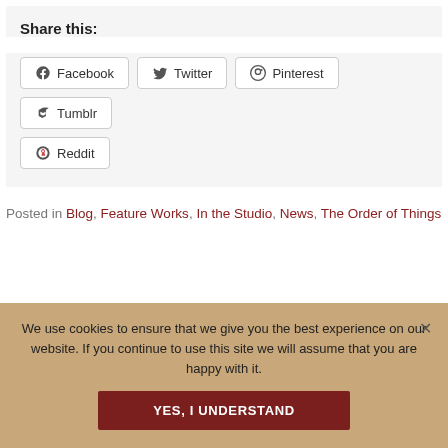Share this:
Facebook
Twitter
Pinterest
Tumblr
Reddit
Posted in Blog, Feature Works, In the Studio, News, The Order of Things
We use cookies to ensure that we give you the best experience on our website. If you continue to use this site we will assume that you are happy with it.
YES, I UNDERSTAND